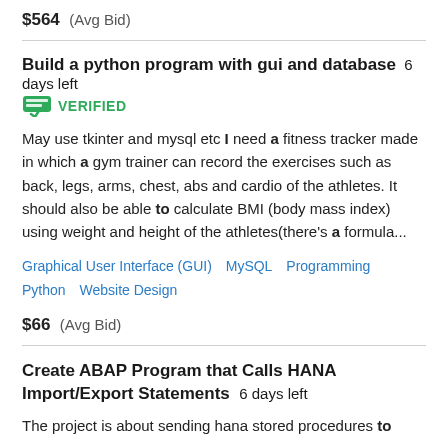$564  (Avg Bid)
Build a python program with gui and database  6 days left  VERIFIED
May use tkinter and mysql etc I need a fitness tracker made in which a gym trainer can record the exercises such as back, legs, arms, chest, abs and cardio of the athletes. It should also be able to calculate BMI (body mass index) using weight and height of the athletes(there's a formula...
Graphical User Interface (GUI)   MySQL   Programming   Python   Website Design
$66  (Avg Bid)
Create ABAP Program that Calls HANA Import/Export Statements  6 days left
The project is about sending hana stored procedures to